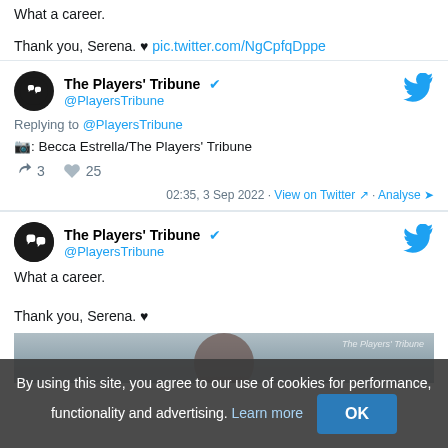What a career.

Thank you, Serena. ♥ pic.twitter.com/NgCpfqDppe
The Players' Tribune @PlayersTribune
Replying to @PlayersTribune
📷: Becca Estrella/The Players' Tribune
🔁 3  ♥ 25
02:35, 3 Sep 2022 · View on Twitter · Analyse
The Players' Tribune @PlayersTribune
What a career.

Thank you, Serena. ♥
By using this site, you agree to our use of cookies for performance, functionality and advertising. Learn more  OK